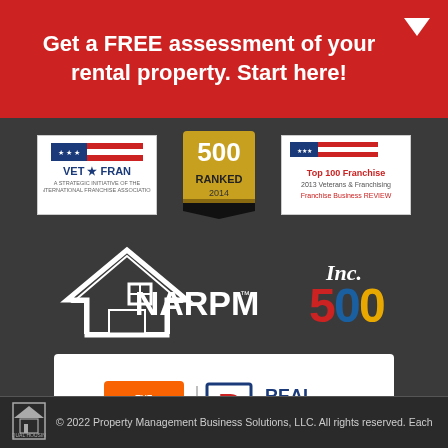Get a FREE assessment of your rental property. Start here!
[Figure (logo): VET*FRAN logo - A Strategic Initiative of the International Franchise Association]
[Figure (logo): 500 RANKED 2014 badge]
[Figure (logo): Top 100 Franchise 2013 Veterans & Franchising - Franchise Business Review]
[Figure (logo): NARPM logo with house icon and trademark symbol]
[Figure (logo): Inc. 500 logo]
[Figure (logo): The Home Depot and Real Property Management - Partners with Property Owners]
© 2022 Property Management Business Solutions, LLC. All rights reserved. Each